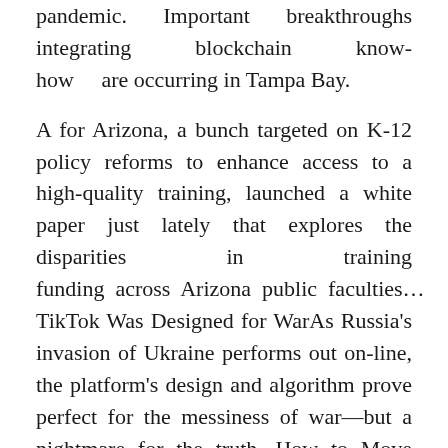pandemic. Important breakthroughs integrating blockchain know-how are occurring in Tampa Bay.
A for Arizona, a bunch targeted on K-12 policy reforms to enhance access to a high-quality training, launched a white paper just lately that explores the disparities in training funding across Arizona public faculties… TikTok Was Designed for WarAs Russia's invasion of Ukraine performs out on-line, the platform's design and algorithm prove perfect for the messiness of war—but a nightmare for the truth. How to Move Your Shop or Business OnlineThe pandemic prompted